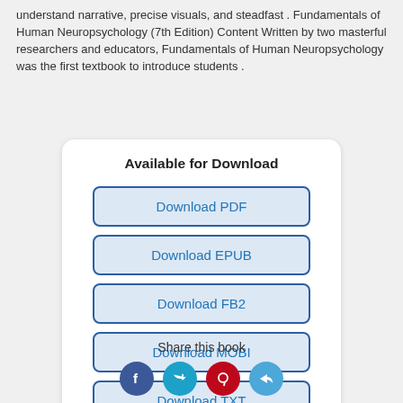understand narrative, precise visuals, and steadfast . Fundamentals of Human Neuropsychology (7th Edition) Content Written by two masterful researchers and educators, Fundamentals of Human Neuropsychology was the first textbook to introduce students .
Available for Download
Download PDF
Download EPUB
Download FB2
Download MOBI
Download TXT
Share this book
[Figure (illustration): Social share icons: Facebook (blue), Twitter (teal), Pinterest (red), Share/email (light blue)]